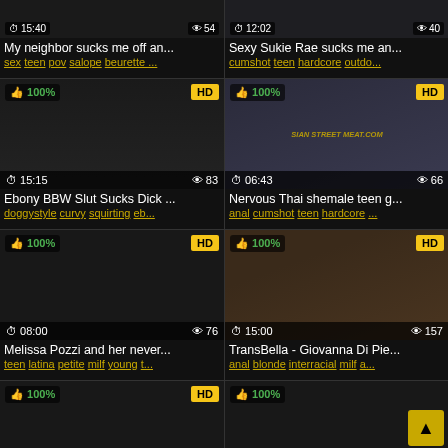[Figure (screenshot): Video thumbnail grid - adult video website screenshot showing 6 video cards in 2-column layout]
My neighbor sucks me off an...
sex teen pov salope beurette ...
Sexy Sukie Rae sucks me an...
cumshot teen hardcore outdo...
Ebony BBW Slut Sucks Dick ...
doggystyle curvy squirting eb...
Nervous Thai shemale teen g...
anal cumshot teen hardcore ...
Melissa Pozzi and her never...
teen latina petite milf young t...
TransBella - Giovanna Di Pie...
anal blonde interracial milf a...